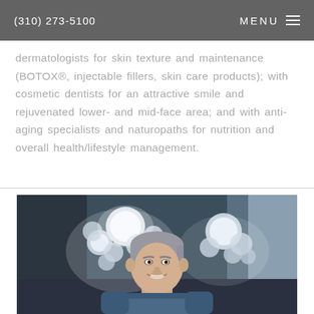(310) 273-5100  MENU
dermatologists for skin texture and maintenance (BOTOX®, injectable fillers, skin care products); with cosmetic dentists for an attractive smile and rejuvenated lower- and mid-face area; and with anti-aging specialists and naturopaths for nutrition and overall health/lifestyle management.
[Figure (photo): A smiling male doctor or surgeon in scrubs standing in an operating room with surgical lights behind and above him.]